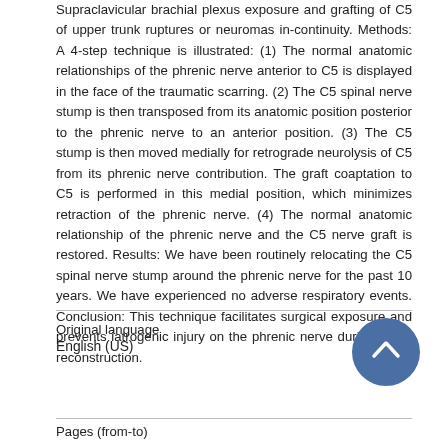Supraclavicular brachial plexus exposure and grafting of C5 of upper trunk ruptures or neuromas in-continuity. Methods: A 4-step technique is illustrated: (1) The normal anatomic relationships of the phrenic nerve anterior to C5 is displayed in the face of the traumatic scarring. (2) The C5 spinal nerve stump is then transposed from its anatomic position posterior to the phrenic nerve to an anterior position. (3) The C5 stump is then moved medially for retrograde neurolysis of C5 from its phrenic nerve contribution. The graft coaptation to C5 is performed in this medial position, which minimizes retraction of the phrenic nerve. (4) The normal anatomic relationship of the phrenic nerve and the C5 nerve graft is restored. Results: We have been routinely relocating the C5 spinal nerve stump around the phrenic nerve for the past 10 years. We have experienced no adverse respiratory events. Conclusion: This technique facilitates surgical exposure and prevents iatrogenic injury on the phrenic nerve during nerve reconstruction.
| Original language | Pages (from-to) |
| --- | --- |
| English (US) |  |